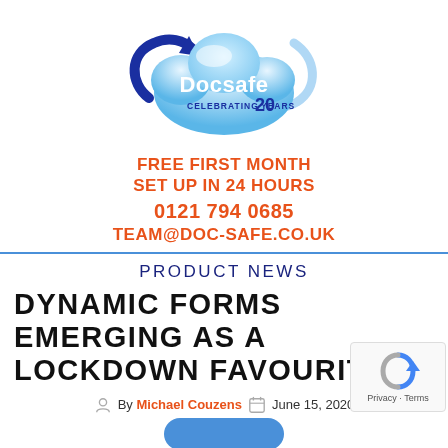[Figure (logo): Docsafe cloud logo — a blue cloud with circular arrows and text 'Docsafe CELEBRATING 20 YEARS']
FREE FIRST MONTH
SET UP IN 24 HOURS
0121 794 0685
TEAM@DOC-SAFE.CO.UK
PRODUCT NEWS
DYNAMIC FORMS EMERGING AS A LOCKDOWN FAVOURITE
By Michael Couzens  June 15, 2020